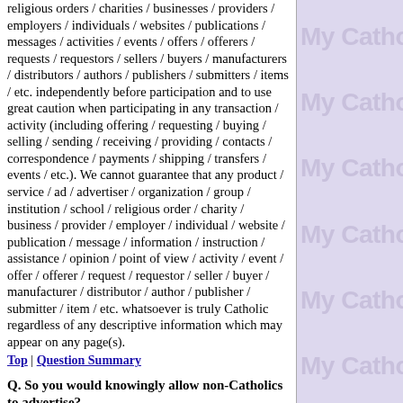religious orders / charities / businesses / providers / employers / individuals / websites / publications / messages / activities / events / offers / offerers / requests / requestors / sellers / buyers / manufacturers / distributors / authors / publishers / submitters / items / etc. independently before participation and to use great caution when participating in any transaction / activity (including offering / requesting / buying / selling / sending / receiving / providing / contacts / correspondence / payments / shipping / transfers / events / etc.). We cannot guarantee that any product / service / ad / advertiser / organization / group / institution / school / religious order / charity / business / provider / employer / individual / website / publication / message / information / instruction / assistance / opinion / point of view / activity / event / offer / offerer / request / requestor / seller / buyer / manufacturer / distributor / author / publisher / submitter / item / etc. whatsoever is truly Catholic regardless of any descriptive information which may appear on any page(s).
Top | Question Summary
Q. So you would knowingly allow non-Catholics to advertise?
A. Yes. (Why?) Harmless third party ads of non-Catholics do not affect the Catholicity of this site any more than such ads on your parish